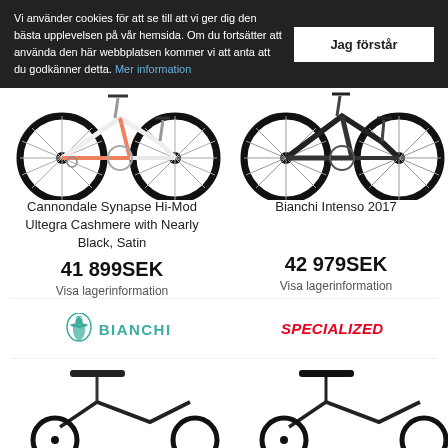Vi använder cookies för att se till att vi ger dig den bästa upplevelsen på vår hemsida. Om du fortsätter att använda den här webbplatsen kommer vi att anta att du godkänner detta. Mer information
Jag förstår
[Figure (photo): Cannondale road bike, white with red accents, partial view showing wheels and frame]
Cannondale Synapse Hi-Mod Ultegra Cashmere with Nearly Black, Satin
41 899SEK
Visa lagerinformation
[Figure (photo): Bianchi road bike, black, partial view showing wheels and frame]
Bianchi Intenso 2017
42 979SEK
Visa lagerinformation
[Figure (logo): Bianchi logo with eagle emblem and BIANCHI text in teal]
[Figure (logo): Specialized logo in red italic text]
[Figure (photo): Partial view of bike saddle and frame, bottom of page, left side]
[Figure (photo): Partial view of bike saddle and frame, bottom of page, right side]